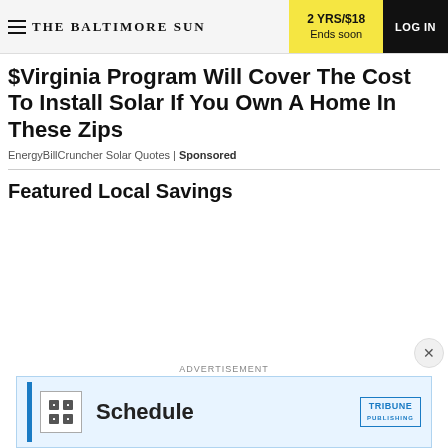THE BALTIMORE SUN | 2 YRS/$18 Ends soon | LOG IN
$Virginia Program Will Cover The Cost To Install Solar If You Own A Home In These Zips
EnergyBillCruncher Solar Quotes | Sponsored
Featured Local Savings
[Figure (screenshot): Advertisement banner showing a scheduling service with Tribune Publishing branding, blue bar, grid icon, 'Schedule' text, and Tribune Publishing logo box]
ADVERTISEMENT